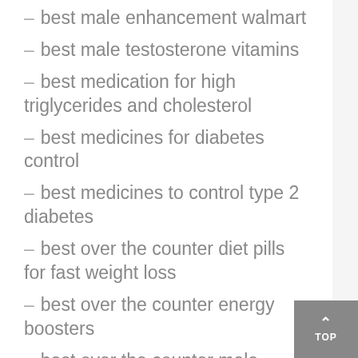– best male enhancement walmart
– best male testosterone vitamins
– best medication for high triglycerides and cholesterol
– best medicines for diabetes control
– best medicines to control type 2 diabetes
– best over the counter diet pills for fast weight loss
– best over the counter energy boosters
– best over the counter male enhancement pills in canada